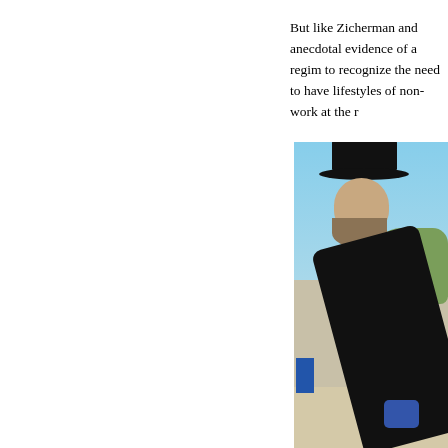But like Zicherman and anecdotal evidence of a regim to recognize the need to have lifestyles of non-work at the r
[Figure (photo): A bearded man wearing a black hat and black coat, bending forward, photographed outdoors with a blue sky and some foliage in the background. The man appears to be in Orthodox Jewish dress.]